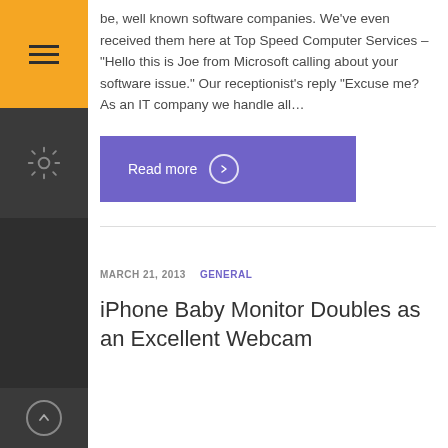be, well known software companies. We've even received them here at Top Speed Computer Services – "Hello this is Joe from Microsoft calling about your software issue."  Our receptionist's reply "Excuse me?  As an IT company we handle all…
Read more
MARCH 21, 2013   GENERAL
iPhone Baby Monitor Doubles as an Excellent Webcam